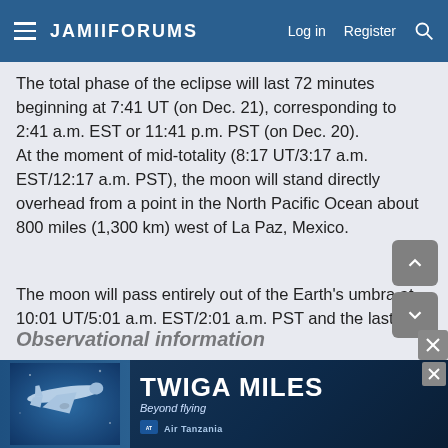JamiiForums — Log in  Register
The total phase of the eclipse will last 72 minutes beginning at 7:41 UT (on Dec. 21), corresponding to 2:41 a.m. EST or 11:41 p.m. PST (on Dec. 20). At the moment of mid-totality (8:17 UT/3:17 a.m. EST/12:17 a.m. PST), the moon will stand directly overhead from a point in the North Pacific Ocean about 800 miles (1,300 km) west of La Paz, Mexico.
The moon will pass entirely out of the Earth's umbra at 10:01 UT/5:01 a.m. EST/2:01 a.m. PST and the last evidence of the penumbra should vanish about 15 or 20 minutes later.
Observational information
[Figure (infographic): Twiga Miles advertisement banner with Air Tanzania branding — airplane illustration, text 'TWIGA MILES Beyond flying' with Air Tanzania logo.]